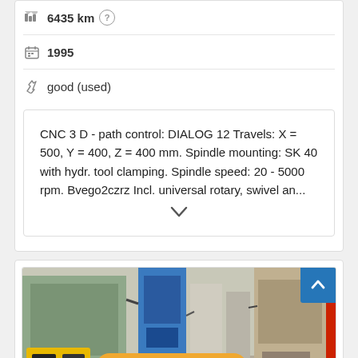6435 km
1995
good (used)
CNC 3 D - path control: DIALOG 12 Travels: X = 500, Y = 400, Z = 400 mm. Spindle mounting: SK 40 with hydr. tool clamping. Spindle speed: 20 - 5000 rpm. Bvego2czrz Incl. universal rotary, swivel an...
[Figure (photo): Industrial CNC machine in a factory setting, showing yellow and blue machinery with control panels. Overlay button: 'Save search query' in orange/amber color.]